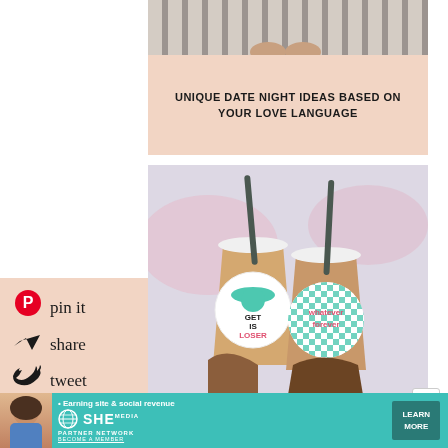[Figure (photo): Top portion of a photo showing striped floor with bare feet]
UNIQUE DATE NIGHT IDEAS BASED ON YOUR LOVE LANGUAGE
[Figure (photo): Two iced drinks with stickers - one reading 'Get in Loser' with UFO design, another reading 'Whatever Forever' with checkered pattern, held by hands against a blurred background]
[Figure (infographic): Social sharing panel with Pinterest pin it, share, and tweet options on a peach background]
[Figure (infographic): Advertisement banner for SHE Media Partner Network: Earning site & social revenue - LEARN MORE - BECOME A MEMBER]